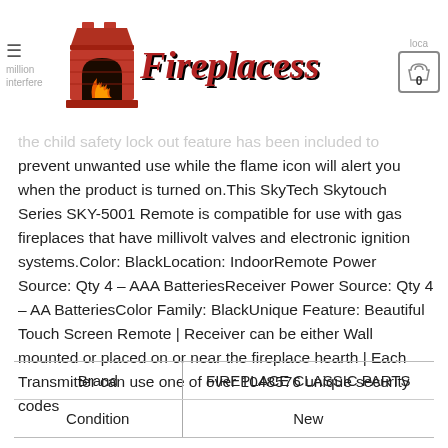Fireplacess
the child safety lock out feature has been included to prevent unwanted use while the flame icon will alert you when the product is turned on.This SkyTech Skytouch Series SKY-5001 Remote is compatible for use with gas fireplaces that have millivolt valves and electronic ignition systems.Color: BlackLocation: IndoorRemote Power Source: Qty 4 – AAA BatteriesReceiver Power Source: Qty 4 – AA BatteriesColor Family: BlackUnique Feature: Beautiful Touch Screen Remote | Receiver can be either Wall mounted or placed on or near the fireplace hearth | Each Transmitter can use one of over 1048576 unique security codes
| Brand | FIREPLACE CLASSIC PARTS |
| --- | --- |
| Condition | New |